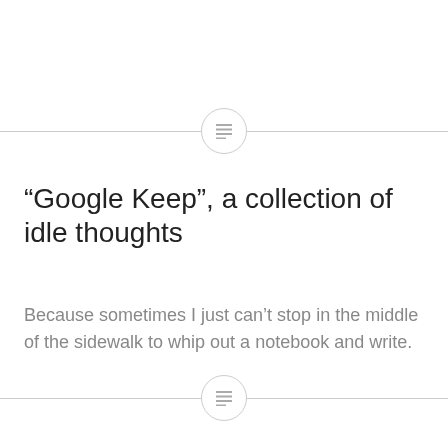[Figure (other): Decorative horizontal divider with a circle containing a menu/list icon in the center, positioned near the top of the page]
“Google Keep”, a collection of idle thoughts
Because sometimes I just can’t stop in the middle of the sidewalk to whip out a notebook and write.
[Figure (other): Decorative horizontal divider with a circle containing a menu/list icon in the center, positioned near the bottom of the page]